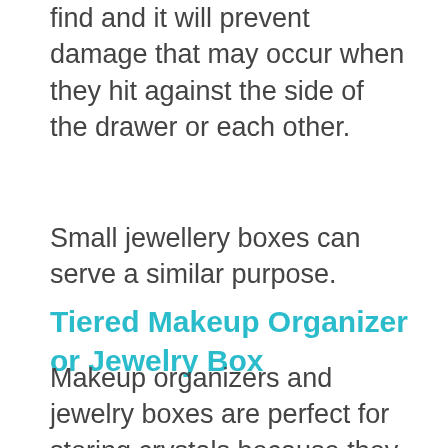find and it will prevent damage that may occur when they hit against the side of the drawer or each other.
Small jewellery boxes can serve a similar purpose.
Tiered Makeup Organizer or Jewelry Box
Makeup organizers and jewelry boxes are perfect for storing crystals because they already have their own separate